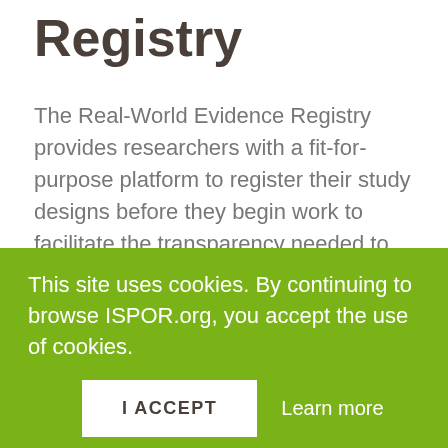Registry
The Real-World Evidence Registry provides researchers with a fit-for-purpose platform to register their study designs before they begin work to facilitate the transparency needed to elevate the trust in the study results.
LEARN MORE
This site uses cookies. By continuing to browse ISPOR.org, you accept the use of cookies.
I ACCEPT    Learn more